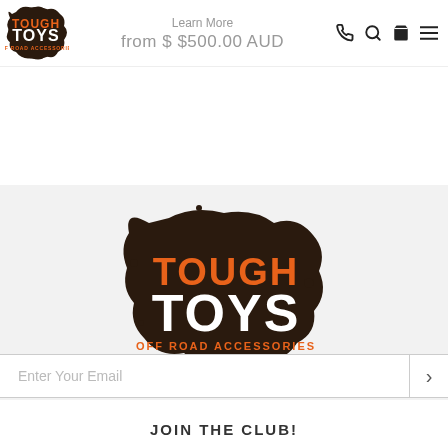[Figure (logo): Tough Toys Off Road Accessories logo in header - small version with ink splatter background]
Learn More
from $ $500.00 AUD
[Figure (logo): Tough Toys Off Road Accessories large logo centered in gray section - ink splatter with orange TOUGH and white TOYS text]
Enter Your Email
JOIN THE CLUB!